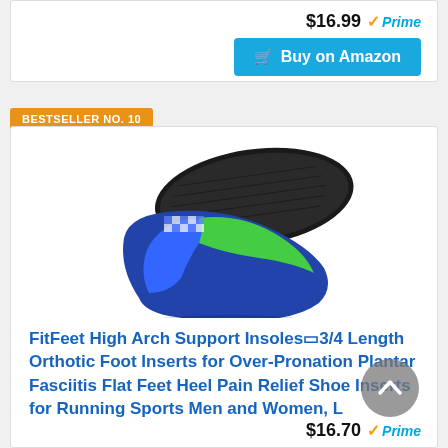$16.99 ✓Prime
🛒 Buy on Amazon
BESTSELLER NO. 10
[Figure (photo): FitFeet shoe insoles product photo showing two orthotic insoles - a black one on top and a blue/green patterned one below]
FitFeet High Arch Support Insoles 3/4 Length Orthotic Foot Inserts for Over-Pronation Plantar Fasciitis Flat Feet Heel Pain Relief Shoe Inserts for Running Sports Men and Women, L
$16.70 ✓Prime